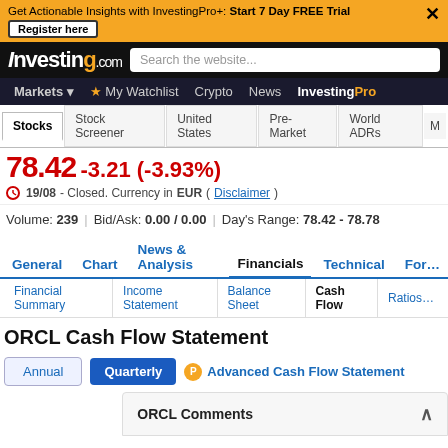Get Actionable Insights with InvestingPro+: Start 7 Day FREE Trial | Register here
[Figure (screenshot): Investing.com website header with logo and search bar]
Markets | My Watchlist | Crypto | News | InvestingPro
Stocks | Stock Screener | United States | Pre-Market | World ADRs
19/08 - Closed. Currency in EUR ( Disclaimer )
Volume: 239 | Bid/Ask: 0.00 / 0.00 | Day's Range: 78.42 - 78.78
General | Chart | News & Analysis | Financials | Technical | For...
Financial Summary | Income Statement | Balance Sheet | Cash Flow | Ratios
ORCL Cash Flow Statement
Annual | Quarterly | Advanced Cash Flow Statement
ORCL Comments